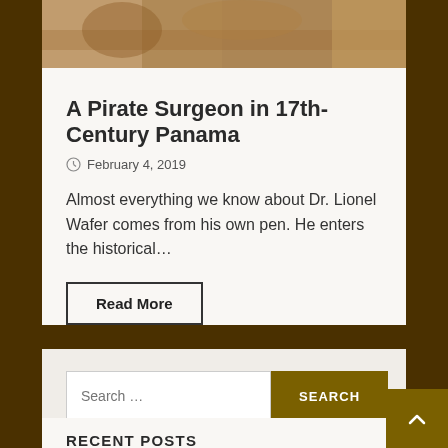[Figure (illustration): Historical illustration/tapestry image at top of article card]
A Pirate Surgeon in 17th-Century Panama
February 4, 2019
Almost everything we know about Dr. Lionel Wafer comes from his own pen. He enters the historical…
Read More
Search …
SEARCH
RECENT POSTS